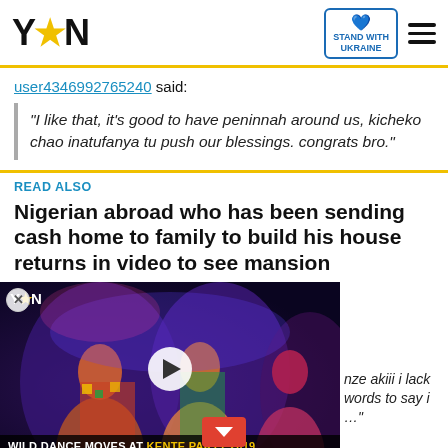[Figure (logo): YEN logo with yellow star in the header navigation bar, along with Stand With Ukraine badge and hamburger menu]
user4346992765240 said:
"I like that, it's good to have peninnah around us, kicheko chao inatufanya tu push our blessings. congrats bro."
READ ALSO
Nigerian abroad who has been sending cash home to family to build his house returns in video to see mansion
[Figure (screenshot): Video thumbnail showing people dancing, with YEN logo top-left, play button in center, caption 'WILD DANCE MOVES AT KENTE PARTY 2019', partially visible text on right, and red chevron down button]
nze akiii i lack words to say i
[Figure (infographic): Stand With Ukraine banner ad at bottom: Donate to save the lives of millions of children, with heart logo and close button]